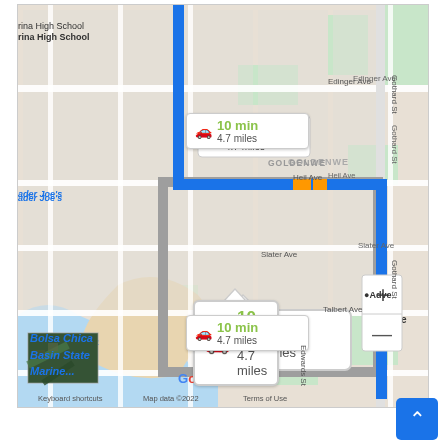[Figure (screenshot): Google Maps screenshot showing driving directions with three route options, all displaying '10 min' and '4.7 miles'. Blue primary route and gray alternate routes are visible. Location labels include Edinger Ave, Heil Ave, Slater Ave, Talbert Ave, Gothard St, Edwards St, Trader Joe's, Bolsa Chica Basin State Marine..., GOLDENWE, and Adve (Adventure). Map footer shows 'Keyboard shortcuts', 'Map data ©2022', 'Terms of Use', and Google logo. Zoom controls (+/-) are visible. A satellite thumbnail is in the lower left. A blue back-to-top button is in the lower right corner of the page.]